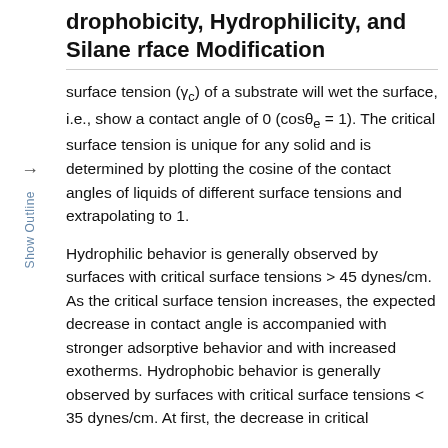drophobicity, Hydrophilicity, and Silane rface Modification
surface tension (γc) of a substrate will wet the surface, i.e., show a contact angle of 0 (cosθe = 1). The critical surface tension is unique for any solid and is determined by plotting the cosine of the contact angles of liquids of different surface tensions and extrapolating to 1.
Hydrophilic behavior is generally observed by surfaces with critical surface tensions > 45 dynes/cm. As the critical surface tension increases, the expected decrease in contact angle is accompanied with stronger adsorptive behavior and with increased exotherms. Hydrophobic behavior is generally observed by surfaces with critical surface tensions < 35 dynes/cm. At first, the decrease in critical